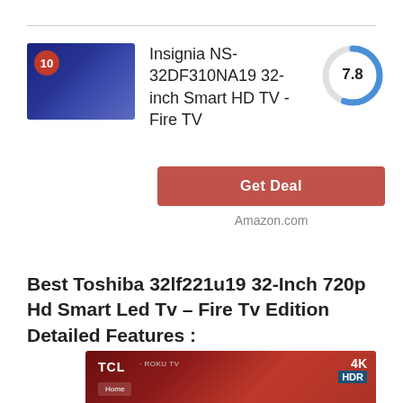[Figure (photo): Insignia NS-32DF310NA19 32-inch Smart HD TV product image with badge showing number 10]
Insignia NS-32DF310NA19 32-inch Smart HD TV - Fire TV
[Figure (donut-chart): Score circle showing 7.8 rating]
Get Deal
Amazon.com
Best Toshiba 32lf221u19 32-Inch 720p Hd Smart Led Tv – Fire Tv Edition Detailed Features :
[Figure (photo): TCL Roku TV 4K HDR smart television screen showing home interface]